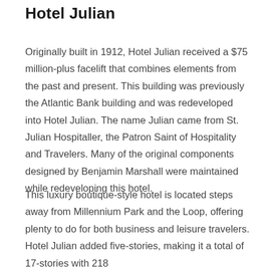Hotel Julian
Originally built in 1912, Hotel Julian received a $75 million-plus facelift that combines elements from the past and present. This building was previously the Atlantic Bank building and was redeveloped into Hotel Julian. The name Julian came from St. Julian Hospitaller, the Patron Saint of Hospitality and Travelers. Many of the original components designed by Benjamin Marshall were maintained while redeveloping this hotel.
This luxury boutique-style hotel is located steps away from Millennium Park and the Loop, offering plenty to do for both business and leisure travelers. Hotel Julian added five-stories, making it a total of 17-stories with 218